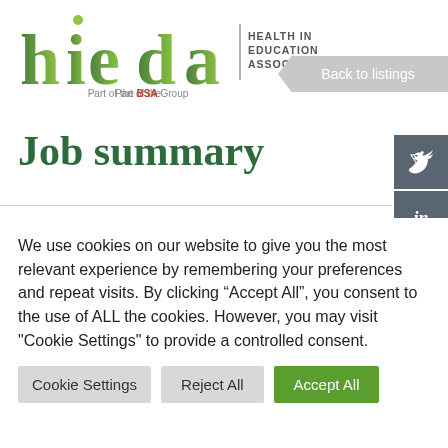[Figure (logo): hieda - Health in Education Association logo with green gradient text and 'Part of the BSA Group' subtitle. BSA in red.]
Back to listings
Job summary
We use cookies on our website to give you the most relevant experience by remembering your preferences and repeat visits. By clicking “Accept All”, you consent to the use of ALL the cookies. However, you may visit "Cookie Settings" to provide a controlled consent.
Cookie Settings | Reject All | Accept All